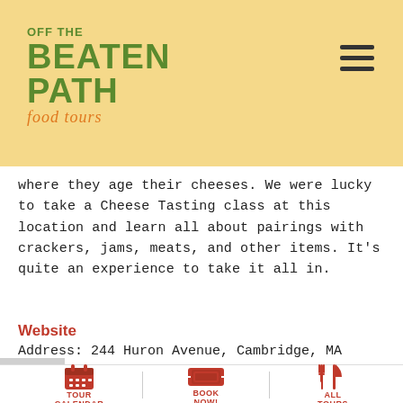[Figure (logo): Off The Beaten Path Food Tours logo with green bold text and orange script]
where they age their cheeses. We were lucky to take a Cheese Tasting class at this location and learn all about pairings with crackers, jams, meats, and other items. It’s quite an experience to take it all in.
Website
Address: 244 Huron Avenue, Cambridge, MA
[Figure (infographic): Footer navigation bar with three icons: Tour Calendar (calendar icon), Book Now! (ticket icon), All Tours (fork and knife icon)]